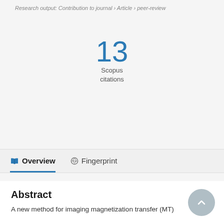Research output: Contribution to journal › Article › peer-review
13
Scopus
citations
[Figure (other): Navigation bar with Overview (active, underlined in blue) and Fingerprint tabs]
Abstract
A new method for imaging magnetization transfer (MT)